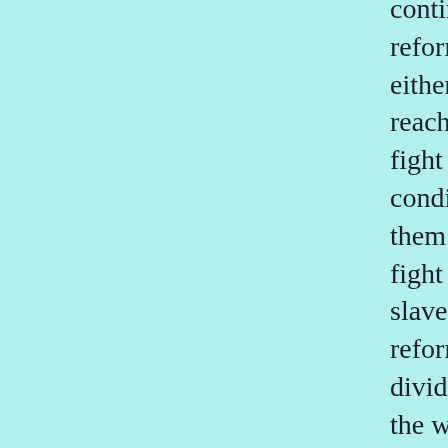continued to exist reforms cannot be either enduring or far-reaching, the workers fight for better conditions and use them to intensify the fight against wage-slavery. The reformists try to divide and deceive the workers, to divert them from the class struggle by petty concessions. But the workers, having seen through the